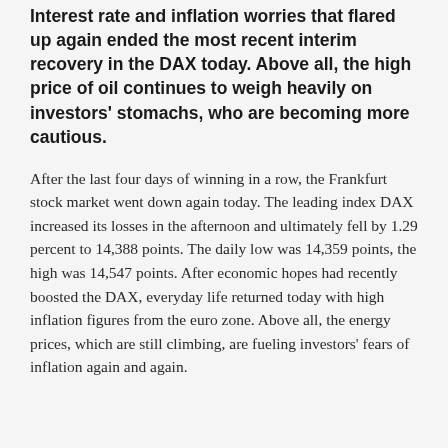Interest rate and inflation worries that flared up again ended the most recent interim recovery in the DAX today. Above all, the high price of oil continues to weigh heavily on investors' stomachs, who are becoming more cautious.
After the last four days of winning in a row, the Frankfurt stock market went down again today. The leading index DAX increased its losses in the afternoon and ultimately fell by 1.29 percent to 14,388 points. The daily low was 14,359 points, the high was 14,547 points. After economic hopes had recently boosted the DAX, everyday life returned today with high inflation figures from the euro zone. Above all, the energy prices, which are still climbing, are fueling investors' fears of inflation again and again.